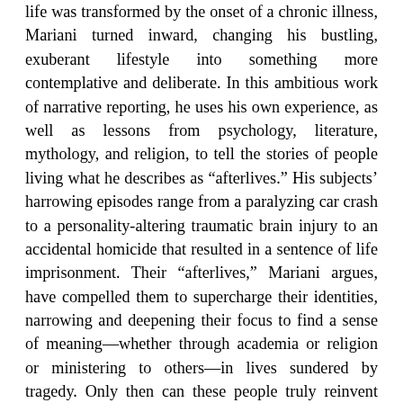life was transformed by the onset of a chronic illness, Mariani turned inward, changing his bustling, exuberant lifestyle into something more contemplative and deliberate. In this ambitious work of narrative reporting, he uses his own experience, as well as lessons from psychology, literature, mythology, and religion, to tell the stories of people living what he describes as “afterlives.” His subjects’ harrowing episodes range from a paralyzing car crash to a personality-altering traumatic brain injury to an accidental homicide that resulted in a sentence of life imprisonment. Their “afterlives,” Mariani argues, have compelled them to supercharge their identities, narrowing and deepening their focus to find a sense of meaning—whether through academia or religion or ministering to others—in lives sundered by tragedy. Only then can these people truly reinvent themselves, testifying to their own unseen multitudes and the valiant mutability of the human spirit. Delving into lives we rarely see in such meticulous detail—lives filled with struggle, loss, perseverance, transformation, and